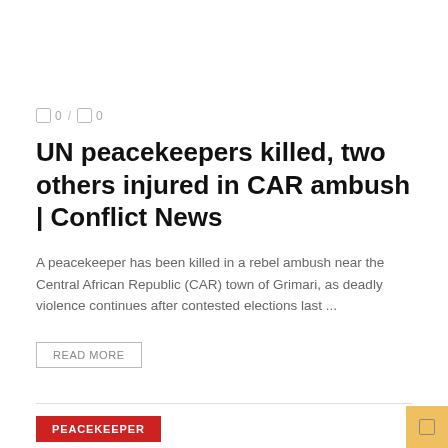0 / 0
UN peacekeepers killed, two others injured in CAR ambush | Conflict News
A peacekeeper has been killed in a rebel ambush near the Central African Republic (CAR) town of Grimari, as deadly violence continues after contested elections last ...
READ MORE
PEACEKEEPER